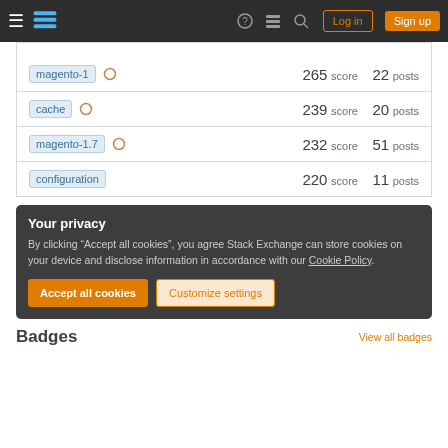Stack Exchange navigation bar with Log in and Sign up buttons
magento-1  265 score  22 posts
cache  239 score  20 posts
magento-1.7  232 score  51 posts
configuration  220 score  11 posts
Your privacy
By clicking "Accept all cookies", you agree Stack Exchange can store cookies on your device and disclose information in accordance with our Cookie Policy.
Accept all cookies  |  Customize settings
Badges
View all badges